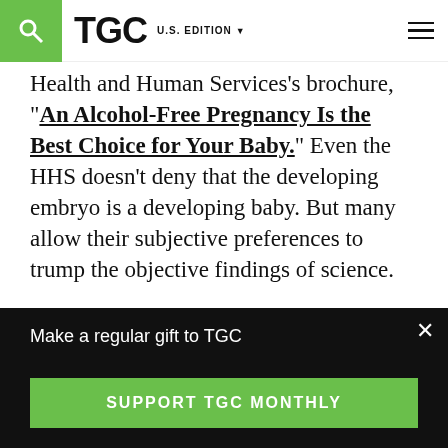TGC  U.S. EDITION
Health and Human Services's brochure, “An Alcohol-Free Pregnancy Is the Best Choice for Your Baby.” Even the HHS doesn’t deny that the developing embryo is a developing baby. But many allow their subjective preferences to trump the objective findings of science.
A final note: Many things scientists have claimed to “know” have proven false. As Olivia Goldhill observes in Quartz, “Many
Make a regular gift to TGC
SUPPORT TGC MONTHLY